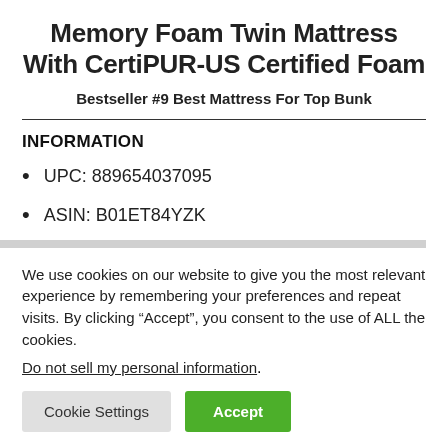Memory Foam Twin Mattress With CertiPUR-US Certified Foam
Bestseller #9 Best Mattress For Top Bunk
INFORMATION
UPC: 889654037095
ASIN: B01ET84YZK
We use cookies on our website to give you the most relevant experience by remembering your preferences and repeat visits. By clicking “Accept”, you consent to the use of ALL the cookies.
Do not sell my personal information.